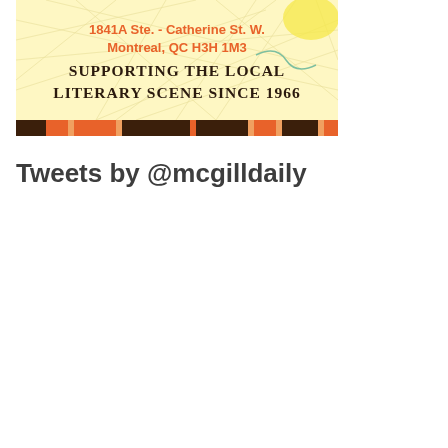[Figure (illustration): Advertisement banner with light yellow background and decorative line art. Orange text reads '1841A Ste. - Catherine St. W. Montreal, QC H3H 1M3'. Dark serif text reads 'Supporting the Local Literary Scene Since 1966'. Bottom decorated with alternating orange and dark brown rectangular blocks.]
Tweets by @mcgilldaily